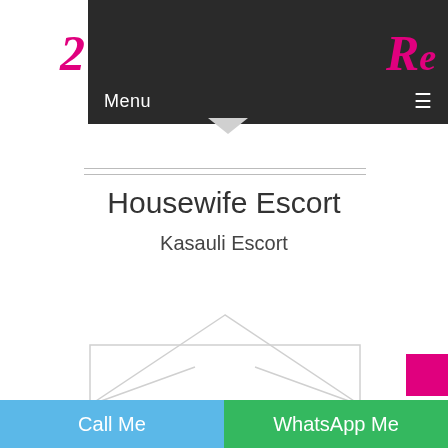[Figure (screenshot): Website header with dark navigation bar showing 'Menu' text and hamburger icon, with pink cursive logo letters on left and right sides]
Housewife Escort
Kasauli Escort
[Figure (illustration): Light gray envelope/triangle shape icon in center of page]
[Figure (other): Pink/magenta square button on right side]
Call Me
WhatsApp Me